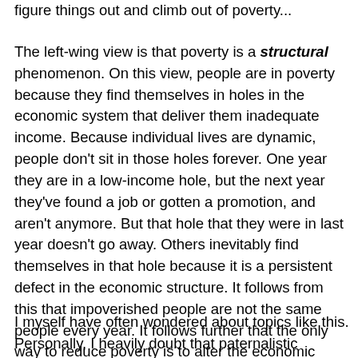figure things out and climb out of poverty...
The left-wing view is that poverty is a structural phenomenon. On this view, people are in poverty because they find themselves in holes in the economic system that deliver them inadequate income. Because individual lives are dynamic, people don't sit in those holes forever. One year they are in a low-income hole, but the next year they've found a job or gotten a promotion, and aren't anymore. But that hole that they were in last year doesn't go away. Others inevitably find themselves in that hole because it is a persistent defect in the economic structure. It follows from this that impoverished people are not the same people every year. It follows further that the only way to reduce poverty is to alter the economic structure so as to reduce the number of low-income holes in it.
I myself have often wondered about topics like this. Personally, I heavily doubt that paternalistic behavioral interventions could eliminate most poverty. But still, I have